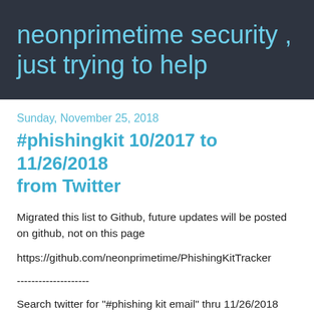neonprimetime security , just trying to help
Sunday, November 25, 2018
#phishingkit 10/2017 to 11/26/2018 from Twitter
Migrated this list to Github, future updates will be posted on github, not on this page
https://github.com/neonprimetime/PhishingKitTracker
--------------------
Search twitter for "#phishing kit email" thru 11/26/2018
Search twitter for "threat actor email" thru 11/26/2018
Search twitter for "#phishing actor email" thru 11/26/2018